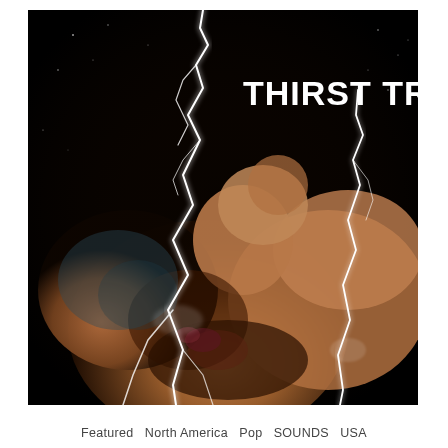[Figure (illustration): Album cover artwork for 'Thirst Trap'. Dark black background with lightning bolt crack effects. A person's bare torso and neck area visible in warm tones. Bold white text 'THIRST TRAP' in upper right area.]
Featured   North America   Pop   SOUNDS   USA